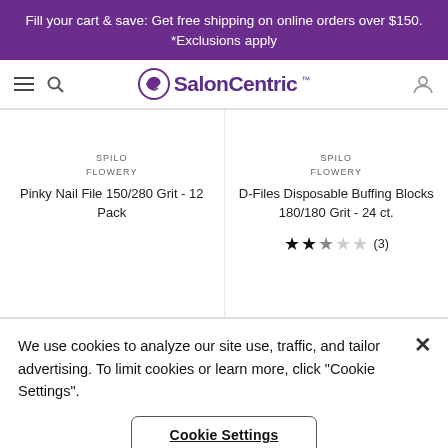Fill your cart & save: Get free shipping on online orders over $150. *Exclusions apply
[Figure (logo): SalonCentric logo with purple swirl icon and text]
SPILO FLOWERY
Pinky Nail File 150/280 Grit - 12 Pack
SPILO FLOWERY
D-Files Disposable Buffing Blocks 180/180 Grit - 24 ct.
★★1☆☆ (3)
We use cookies to analyze our site use, traffic, and tailor advertising. To limit cookies or learn more, click "Cookie Settings".
Cookie Settings